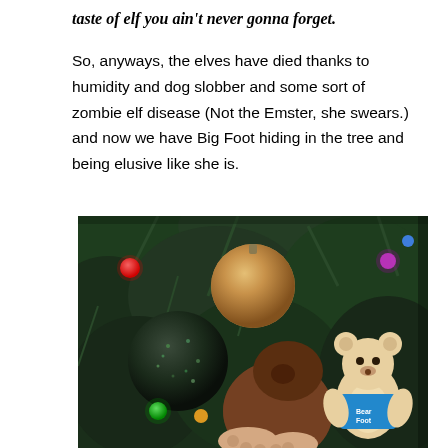taste of elf you ain't never gonna forget.
So, anyways, the elves have died thanks to humidity and dog slobber and some sort of zombie elf disease (Not the Emster, she swears.) and now we have Big Foot hiding in the tree and being elusive like she is.
[Figure (photo): A Christmas tree decorated with colored lights (red, green, purple) and ornaments (a large gold ball ornament, a dark glittery ball ornament). Nestled among the branches is a Big Foot plush figure, and next to it sits a small teddy bear wearing a blue shirt.]